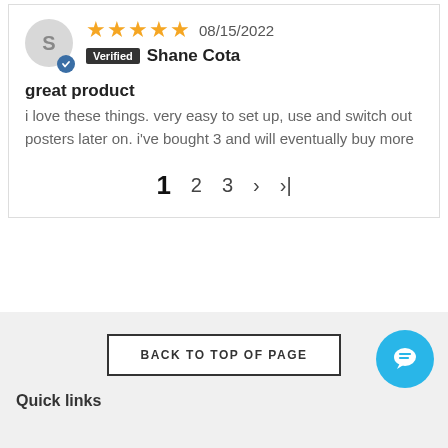S — avatar initial
★★★★★ 08/15/2022
Verified Shane Cota
great product
i love these things. very easy to set up, use and switch out posters later on. i've bought 3 and will eventually buy more
1 2 3 › »|
BACK TO TOP OF PAGE
Quick links